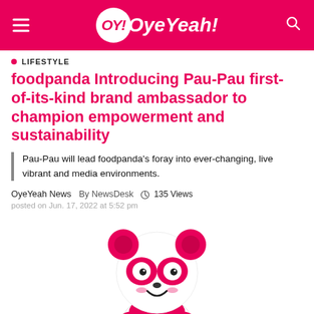OY! OyeYeah!
LIFESTYLE
foodpanda Introducing Pau-Pau first-of-its-kind brand ambassador to champion empowerment and sustainability
Pau-Pau will lead foodpanda's foray into ever-changing, live vibrant and media environments.
OyeYeah News  By NewsDesk  135 Views
posted on Jun. 17, 2022 at 5:52 pm
[Figure (illustration): Cartoon pink and white panda mascot (Pau-Pau) with a round face, pink ears, pink eye patches, and small pink paws/body, smiling]